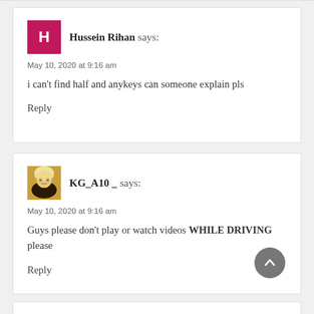Hussein Rihan says:
May 10, 2020 at 9:16 am
i can't find half and anykeys can someone explain pls
Reply
KG_A10 _ says:
May 10, 2020 at 9:16 am
Guys please don't play or watch videos WHILE DRIVING please
Reply